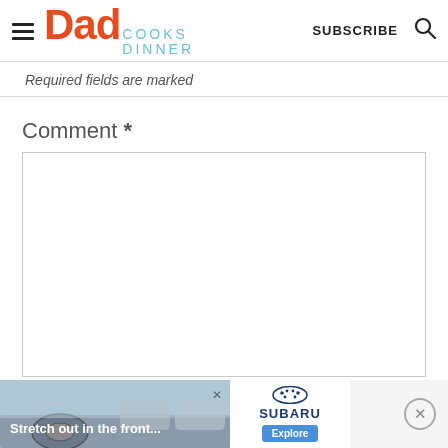[Figure (logo): Dad Cooks Dinner logo with hamburger menu icon and Subscribe/Search buttons in header]
Required fields are marked
Comment *
[Figure (other): Empty comment text area input box with border]